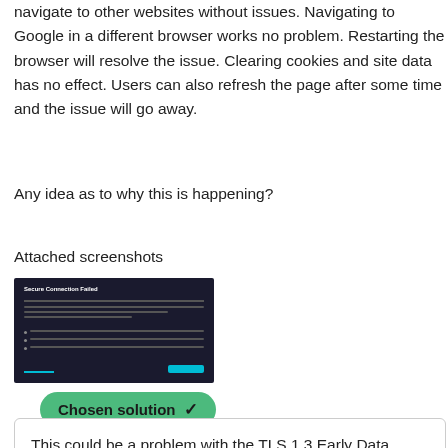navigate to other websites without issues. Navigating to Google in a different browser works no problem. Restarting the browser will resolve the issue. Clearing cookies and site data has no effect. Users can also refresh the page after some time and the issue will go away.
Any idea as to why this is happening?
Attached screenshots
[Figure (screenshot): Screenshot of a browser showing 'Secure Connection Failed' error page with dark background]
Chosen solution ✓
This could be a problem with the TLS 1.3 Early Data feature also known as Zero Round Trip Time Resumption (0rtt). You can try to set security.tls.enable_0rtt_data = false on the